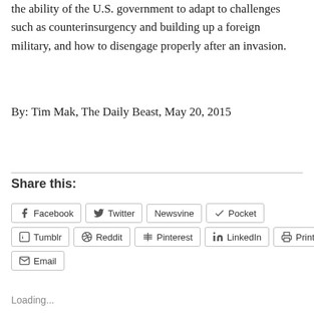the ability of the U.S. government to adapt to challenges such as counterinsurgency and building up a foreign military, and how to disengage properly after an invasion.
By: Tim Mak, The Daily Beast, May 20, 2015
Share this:
Facebook
Twitter
Newsvine
Pocket
Tumblr
Reddit
Pinterest
LinkedIn
Print
Email
Loading...